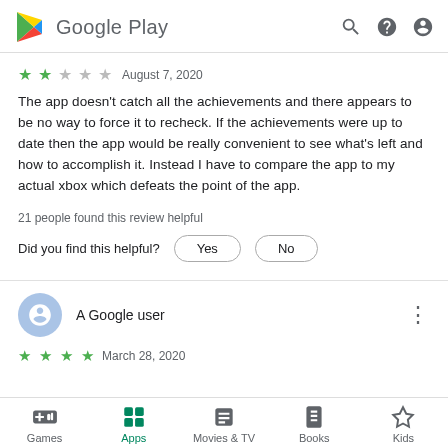Google Play
★★ August 7, 2020
The app doesn't catch all the achievements and there appears to be no way to force it to recheck. If the achievements were up to date then the app would be really convenient to see what's left and how to accomplish it. Instead I have to compare the app to my actual xbox which defeats the point of the app.
21 people found this review helpful
Did you find this helpful?  Yes  No
A Google user
★★★★  March 28, 2020
Games  Apps  Movies & TV  Books  Kids